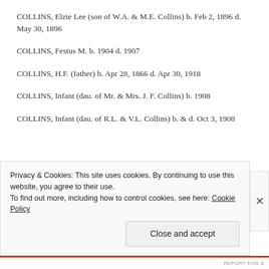COLLINS, Elzie Lee (son of W.A. & M.E. Collins) b. Feb 2, 1896 d. May 30, 1896
COLLINS, Festus M. b. 1904 d. 1907
COLLINS, H.F. (father) b. Apr 28, 1866 d. Apr 30, 1918
COLLINS, Infant (dau. of Mr. & Mrs. J. F. Collins) b. 1908
COLLINS, Infant (dau. of R.L. & V.L. Collins) b. & d. Oct 3, 1908
Privacy & Cookies: This site uses cookies. By continuing to use this website, you agree to their use. To find out more, including how to control cookies, see here: Cookie Policy